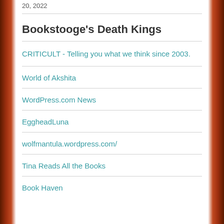20, 2022
Bookstooge's Death Kings
CRITICULT - Telling you what we think since 2003.
World of Akshita
WordPress.com News
EggheadLuna
wolfmantula.wordpress.com/
Tina Reads All the Books
Book Haven